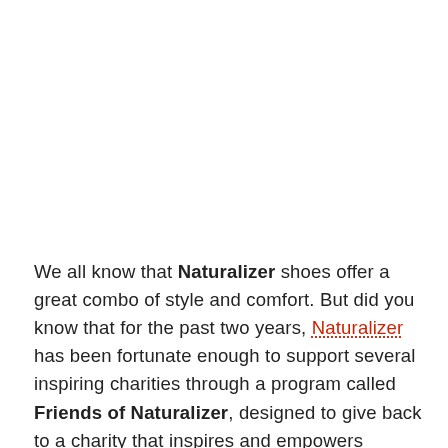We all know that Naturalizer shoes offer a great combo of style and comfort. But did you know that for the past two years, Naturalizer has been fortunate enough to support several inspiring charities through a program called Friends of Naturalizer, designed to give back to a charity that inspires and empowers women? This year, from September 29 through October 2, Naturalizer will be donating $1 from every shoe and handbag purchase – up to $20,000 – to Dress for Success – a charity created to